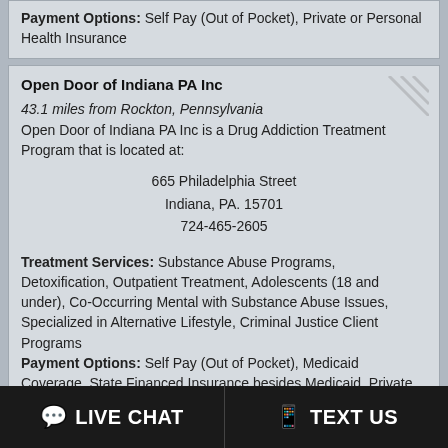Payment Options: Self Pay (Out of Pocket), Private or Personal Health Insurance
Open Door of Indiana PA Inc
43.1 miles from Rockton, Pennsylvania
Open Door of Indiana PA Inc is a Drug Addiction Treatment Program that is located at:
665 Philadelphia Street
Indiana, PA. 15701
724-465-2605
Treatment Services: Substance Abuse Programs, Detoxification, Outpatient Treatment, Adolescents (18 and under), Co-Occurring Mental with Substance Abuse Issues, Specialized in Alternative Lifestyle, Criminal Justice Client Programs
Payment Options: Self Pay (Out of Pocket), Medicaid Coverage, State Financed Insurance besides Medicaid, Private or Personal Health Insurance, Income Based Payment (Sliding Scale)
Copyright © 2006 - 2022 www.drug-overdose.com